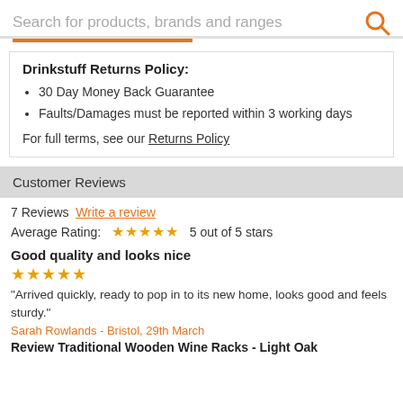Search for products, brands and ranges
Drinkstuff Returns Policy:
30 Day Money Back Guarantee
Faults/Damages must be reported within 3 working days
For full terms, see our Returns Policy
Customer Reviews
7 Reviews Write a review
Average Rating: ★★★★★ 5 out of 5 stars
Good quality and looks nice
★★★★★
"Arrived quickly, ready to pop in to its new home, looks good and feels sturdy."
Sarah Rowlands - Bristol, 29th March
Review Traditional Wooden Wine Racks - Light Oak